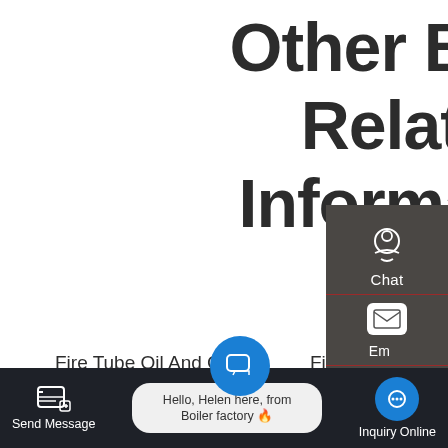Other Boiler Related Information
Fire Tube Oil And Gas
Fire Tube Boiler Industry
Fire Tube Boiler And
Fire Tube Boiler Agent
Fire Tube 9 Ton Gas
Fire Tube And Water
Send Message    Hello, Helen here, from Boiler factory 🔥    Inquiry Online